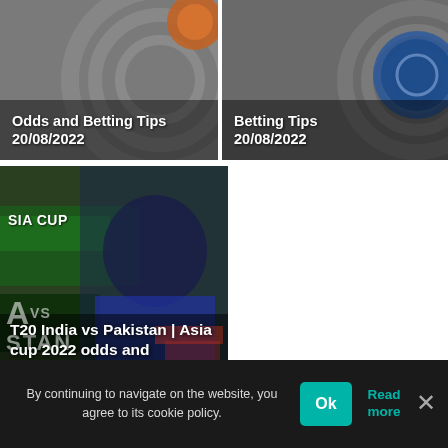[Figure (screenshot): Top-left card with dark grey background and circular pattern: 'Odds and Betting Tips 20/08/2022' in white bold text]
[Figure (screenshot): Top-right card with dark grey background and circular logo/badge: 'Betting Tips 20/08/2022' in white bold text]
[Figure (photo): Large card showing cricket player (India) in blue helmet, Asia Cup trophy in background, text overlay: 'T20 India vs Pakistan | Asia cup 2022 odds and predictions']
By continuing to navigate on the website, you agree to its cookie policy.
Ok
Read more